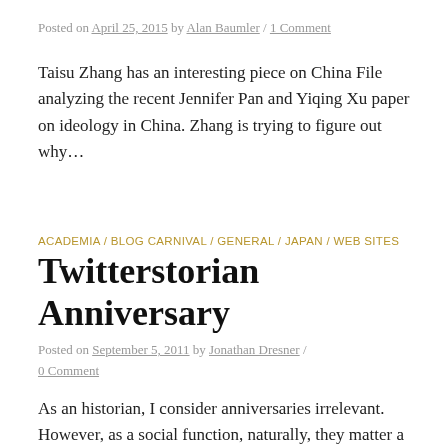Posted on April 25, 2015 by Alan Baumler / 1 Comment
Taisu Zhang has an interesting piece on China File analyzing the recent Jennifer Pan and Yiqing Xu paper on ideology in China. Zhang is trying to figure out why...
ACADEMIA / BLOG CARNIVAL / GENERAL / JAPAN / WEB SITES
Twitterstorian Anniversary
Posted on September 5, 2011 by Jonathan Dresner / 0 Comment
As an historian, I consider anniversaries irrelevant. However, as a social function, naturally, they matter a great deal, and the internet itself moves so quick...